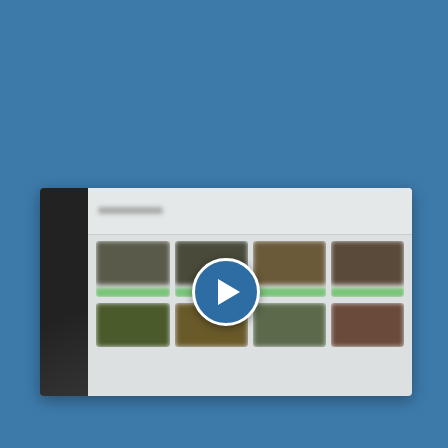[Figure (screenshot): A blurred screenshot of what appears to be a recipe or food product listing website/app, shown with a dark sidebar on the left and a grid of food items with green labels. A circular blue play button overlay is centered on the screenshot, indicating this is a video thumbnail.]